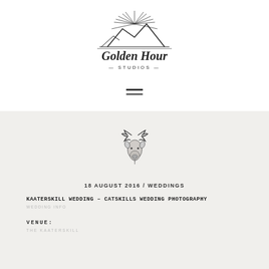[Figure (logo): Golden Hour Studios logo with mountain and sunburst graphic and script text]
[Figure (other): Hamburger menu icon (two horizontal lines)]
[Figure (illustration): Moose head illustration, black ink style]
18 AUGUST 2016 / WEDDINGS
KAATERSKILL WEDDING – CATSKILLS WEDDING PHOTOGRAPHY
WEDDING INFO
VENUE:
THE KAATERSKILL